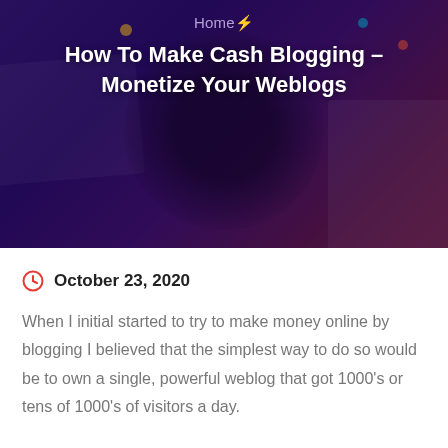[Figure (photo): Dark purple/blue blurred hero image background with a silhouette and colored pins, overlaid with navigation breadcrumb and article title text]
Home
How To Make Cash Blogging – Monetize Your Weblogs
October 23, 2020
When I initial started to try to make money online by blogging I believed that the simplest way to do so would be to own a single, powerful weblog that got 1000's or tens of 1000's of visitors a day.